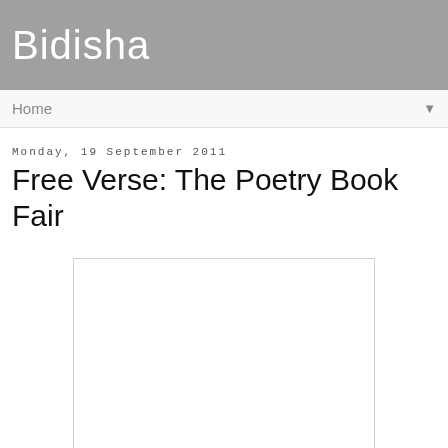Bidisha
Home
Monday, 19 September 2011
Free Verse: The Poetry Book Fair
[Figure (photo): A white rectangular image placeholder with light border, representing an embedded photo or image for the blog post.]